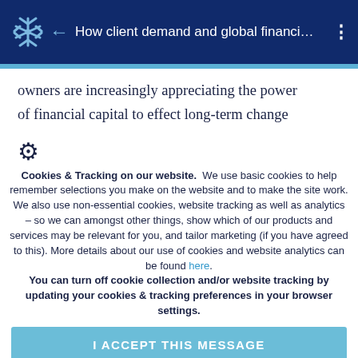How client demand and global financi…
owners are increasingly appreciating the power of financial capital to effect long-term change
Cookies & Tracking on our website.  We use basic cookies to help remember selections you make on the website and to make the site work. We also use non-essential cookies, website tracking as well as analytics – so we can amongst other things, show which of our products and services may be relevant for you, and tailor marketing (if you have agreed to this). More details about our use of cookies and website analytics can be found here. You can turn off cookie collection and/or website tracking by updating your cookies & tracking preferences in your browser settings.
I ACCEPT THIS MESSAGE